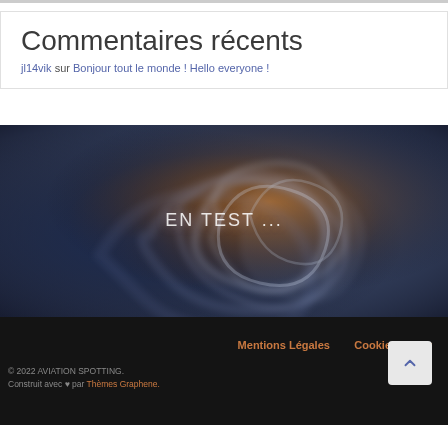Commentaires récents
jl14vik sur Bonjour tout le monde ! Hello everyone !
[Figure (illustration): Abstract swirling smoke/energy background image in blue and orange tones with text 'EN TEST ...' overlaid in the center]
Mentions Légales    Cookies policy
© 2022 AVIATION SPOTTING.
Construit avec ♥ par Thèmes Graphene.